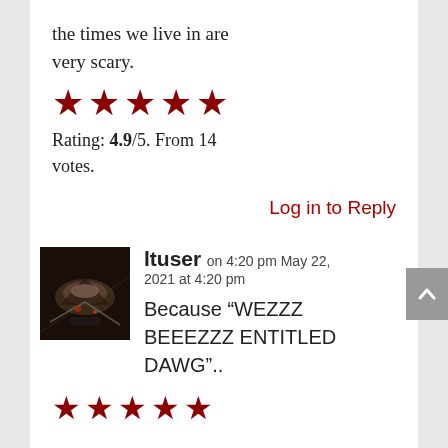the times we live in are very scary.
[Figure (other): Five red star rating icons]
Rating: 4.9/5. From 14 votes.
Log in to Reply
[Figure (photo): Avatar image showing a dark sci-fi aircraft or spaceship scene]
ltuser on 4:20 pm May 22, 2021 at 4:20 pm
Because “WEZZZ BEEEZZZ ENTITLED DAWG”..
[Figure (other): Partial row of red star rating icons at bottom of page]